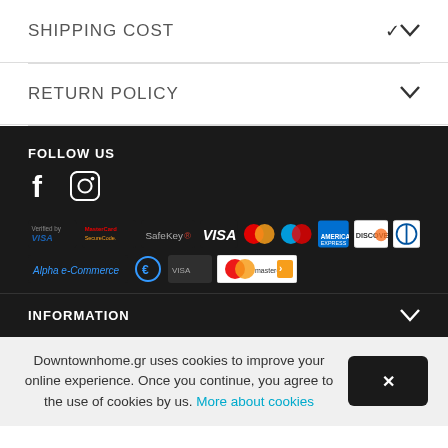SHIPPING COST
RETURN POLICY
FOLLOW US
[Figure (logo): Facebook and Instagram social media icons]
[Figure (logo): Payment method logos: Verified by VISA, MasterCard SecureCode, SafeKey, Alpha e-Commerce, VISA, Mastercard, Maestro, American Express, Discover, Diners, and Mastercard Debit]
INFORMATION
Downtownhome.gr uses cookies to improve your online experience. Once you continue, you agree to the use of cookies by us. More about cookies